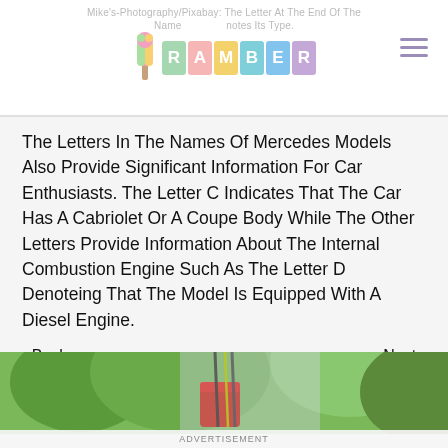Mike's-Photography/Pixabay: The Letter At The End Of The Name Notes Its Type. RAMBER
The Letters In The Names Of Mercedes Models Also Provide Significant Information For Car Enthusiasts. The Letter C Indicates That The Car Has A Cabriolet Or A Coupe Body While The Other Letters Provide Information About The Internal Combustion Engine Such As The Letter D Denoteing That The Model Is Equipped With A Diesel Engine.
Back   Next
NEXT ARTICLE
[Figure (photo): Photo of a drink with straws and greenery in the background.]
ADVERTISEMENT